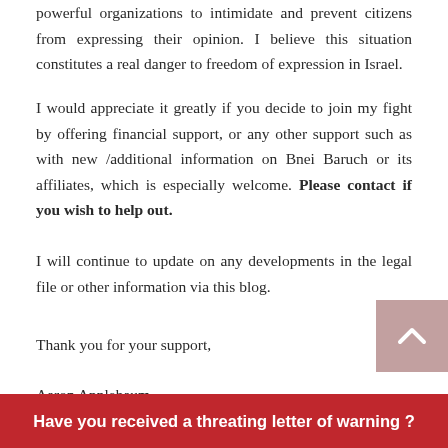powerful organizations to intimidate and prevent citizens from expressing their opinion. I believe this situation constitutes a real danger to freedom of expression in Israel.
I would appreciate it greatly if you decide to join my fight by offering financial support, or any other support such as with new /additional information on Bnei Baruch or its affiliates, which is especially welcome. Please contact if you wish to help out.
I will continue to update on any developments in the legal file or other information via this blog.
Thank you for your support,
Aaron Applebaum
Have you received a threating letter of warning ?